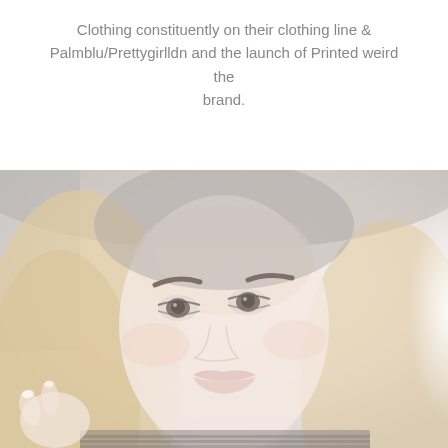Clothing constituently on their clothing line & Palmblu/Prettygirlldn and the launch of Printed weird the brand.
[Figure (photo): A washed-out, faded selfie photograph of a young blonde woman with dark eyes and full lips, wearing a dark striped top, taken inside what appears to be a car. The image has a very light, overexposed quality.]